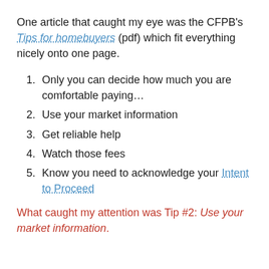One article that caught my eye was the CFPB's Tips for homebuyers (pdf) which fit everything nicely onto one page.
Only you can decide how much you are comfortable paying…
Use your market information
Get reliable help
Watch those fees
Know you need to acknowledge your Intent to Proceed
What caught my attention was Tip #2: Use your market information.